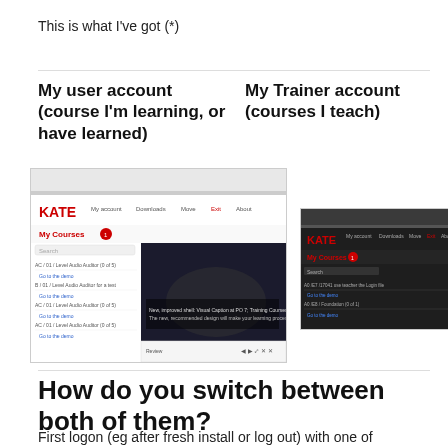This is what I've got (*)
My user account (course I'm learning, or have learned)
My Trainer account (courses I teach)
[Figure (screenshot): Screenshot of KATE learning platform - user account view showing My Courses list with multiple course items and a course preview image]
[Figure (screenshot): Screenshot of KATE learning platform - trainer account view with dark theme showing My Courses with fewer items]
How do you switch between both of them?
First logon (eg after fresh install or log out) with one of